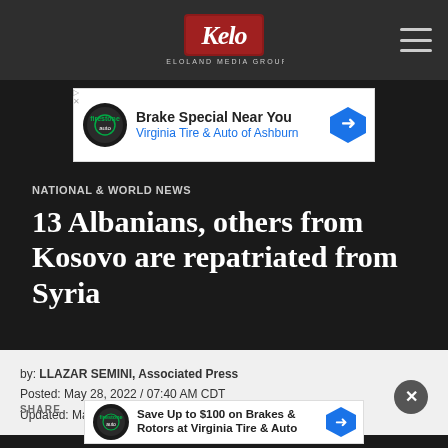Keloland Media Group
[Figure (screenshot): Advertisement banner: Brake Special Near You - Virginia Tire & Auto of Ashburn]
NATIONAL & WORLD NEWS
13 Albanians, others from Kosovo are repatriated from Syria
by: LLAZAR SEMINI, Associated Press
Posted: May 28, 2022 / 07:40 AM CDT
Updated: May 28, 2022 / 07:40 AM CDT
SHARE
[Figure (screenshot): Advertisement banner: Save Up to $100 on Brakes & Rotors at Virginia Tire & Auto]